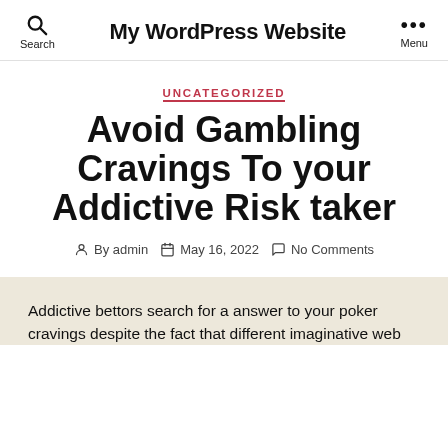My WordPress Website
UNCATEGORIZED
Avoid Gambling Cravings To your Addictive Risk taker
By admin  May 16, 2022  No Comments
Addictive bettors search for a answer to your poker cravings despite the fact that different imaginative web